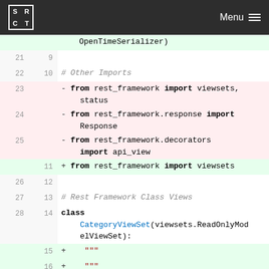SRCT Menu
Code diff view showing Python Django REST framework imports and class definition
[Figure (screenshot): Code diff viewer showing removed and added lines in a Python Django REST framework file. Lines 21-30 on old side, lines 9-18 on new side. Green highlighted lines are additions, red/pink highlighted lines are removals.]